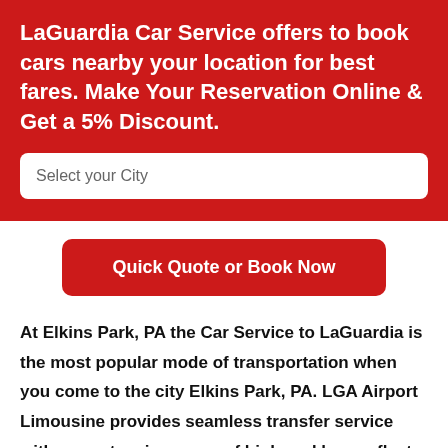LaGuardia Car Service offers to book cars nearby your location for best fares. Make Your Reservation Online & Get a 5% Discount.
Select your City
Quick Quote or Book Now
At Elkins Park, PA the Car Service to LaGuardia is the most popular mode of transportation when you come to the city Elkins Park, PA. LGA Airport Limousine provides seamless transfer service with our extensive range of high-end luxury fleet starting from the sedan, SUVs, luxury vans, and limousines. With Car Service LaGuardia for your service, we